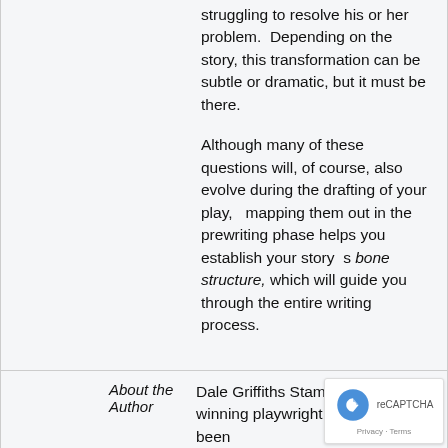struggling to resolve his or her problem.  Depending on the story, this transformation can be subtle or dramatic, but it must be there.
Although many of these questions will, of course, also evolve during the drafting of your play,   mapping them out in the prewriting phase helps you establish your story  s bone structure, which will guide you through the entire writing process.
About the Author
Dale Griffiths Stamos is an award-winning playwright whose work has been